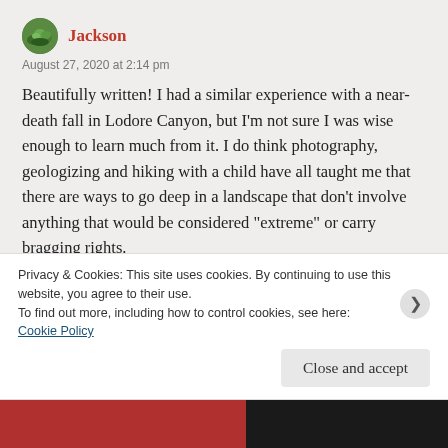[Figure (illustration): Circular avatar icon with green foliage/nature image]
Jackson
August 27, 2020 at 2:14 pm
Beautifully written! I had a similar experience with a near-death fall in Lodore Canyon, but I'm not sure I was wise enough to learn much from it. I do think photography, geologizing and hiking with a child have all taught me that there are ways to go deep in a landscape that don't involve anything that would be considered "extreme" or carry bragging rights.
Privacy & Cookies: This site uses cookies. By continuing to use this website, you agree to their use.
To find out more, including how to control cookies, see here:
Cookie Policy
Close and accept